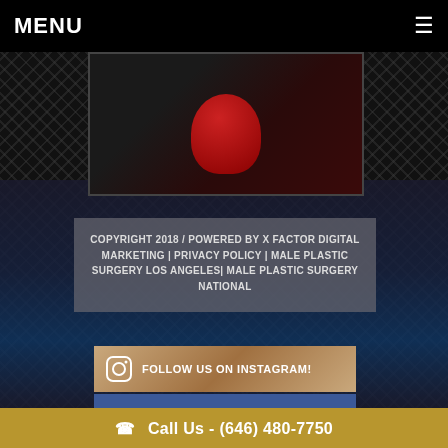MENU
[Figure (screenshot): Video thumbnail showing a person in red against a dark city background]
COPYRIGHT 2018 / POWERED BY X FACTOR DIGITAL MARKETING | PRIVACY POLICY | MALE PLASTIC SURGERY LOS ANGELES| MALE PLASTIC SURGERY NATIONAL
FOLLOW US ON INSTAGRAM!
FOLLOW US ON FACEBOOK!
FOLLOW US ON TIKTOK
Call Us - (646) 480-7750